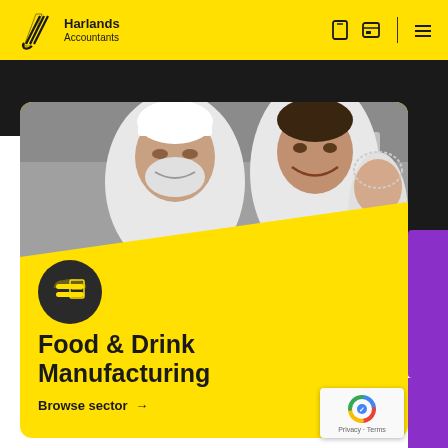[Figure (logo): Harlands Accountants logo with yellow diagonal slash mark and company name]
Harlands Accountants — navigation bar with icons and hamburger menu
[Figure (photo): Two men in white chef uniforms smiling at each other in a food manufacturing facility, with a woman in background wearing hairnet]
[Figure (illustration): Dark circular icon with food/manufacturing symbol (burger and document)]
Food & Drink Manufacturing
Browse sector →